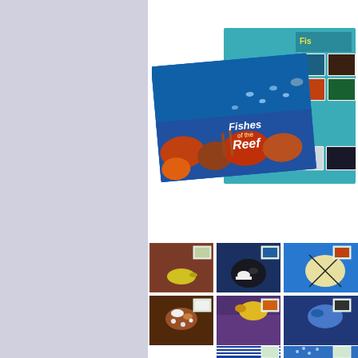[Figure (photo): Left panel: light lavender/blue-grey vertical sidebar]
[Figure (photo): Top right: Two overlapping 'Fishes of the Reef' stamp products — a booklet/brochure showing an underwater coral reef scene with blue fish, and a stamp mini-sheet with teal background showing 6 fish stamps in 2x3 grid layout plus a bottom strip of 4 stamps. Title reads 'Fishes of the Reef'.]
[Figure (photo): Bottom right: Grid of 6 maximum cards/postcards showing individual fish photographs with stamps affixed, depicting various reef fish species including yellow fish, triggerfish, butterflyfish, lionfish/scorpionfish, and others against underwater backgrounds.]